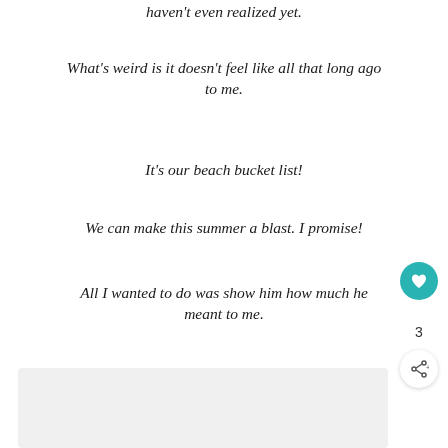haven’t even realized yet.
What’s weird is it doesn’t feel like all that long ago to me.
It’s our beach bucket list!
We can make this summer a blast. I promise!
All I wanted to do was show him how much he meant to me.
[Figure (photo): Partially visible image at the bottom of the page, shown as a light gray rectangle]